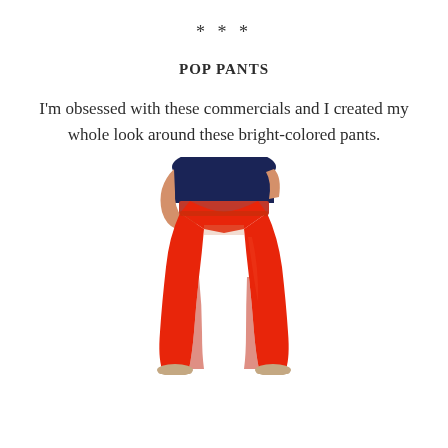***
POP PANTS
I'm obsessed with these commercials and I created my whole look around these bright-colored pants.
[Figure (photo): A woman wearing bright red/orange skinny pants and a dark navy top, with nude flat shoes. Only the torso down to the ankles is visible.]